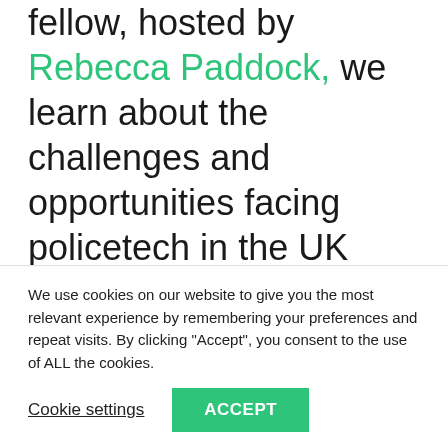fellow, hosted by Rebecca Paddock, we learn about the challenges and opportunities facing policetech in the UK from Wayne Parks, Chair, National Police Technology Council and Ian bell, CEO of Police ICT, a partner to UK police services and law enforcement organisations.
Quizzed by Rebecca, Wayne and Ian discuss the
We use cookies on our website to give you the most relevant experience by remembering your preferences and repeat visits. By clicking "Accept", you consent to the use of ALL the cookies.